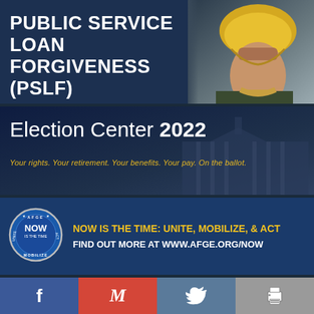PUBLIC SERVICE LOAN FORGIVENESS (PSLF)
[Figure (infographic): Election Center 2022 banner with dark blue background and text overlay]
Election Center 2022
Your rights. Your retirement. Your benefits. Your pay. On the ballot.
[Figure (infographic): AFGE NOW IS THE TIME: UNITE, MOBILIZE, & ACT banner with circular logo]
NOW IS THE TIME: UNITE, MOBILIZE, & ACT
FIND OUT MORE AT WWW.AFGE.ORG/NOW
[Figure (infographic): AFGE Coronavirus banner with AFGE logo and blue title text]
CORONAVIRUS
f  M  Twitter  Print